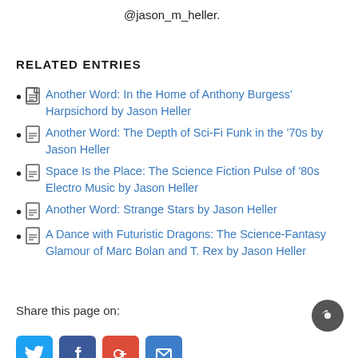@jason_m_heller.
RELATED ENTRIES
Another Word: In the Home of Anthony Burgess' Harpsichord by Jason Heller
Another Word: The Depth of Sci-Fi Funk in the '70s by Jason Heller
Space Is the Place: The Science Fiction Pulse of '80s Electro Music by Jason Heller
Another Word: Strange Stars by Jason Heller
A Dance with Futuristic Dragons: The Science-Fantasy Glamour of Marc Bolan and T. Rex by Jason Heller
Share this page on: